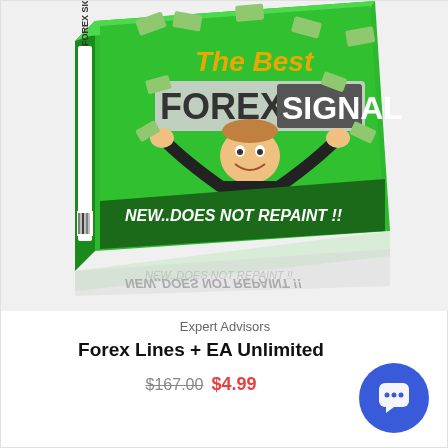[Figure (illustration): Product box for 'The Best Forex Signal' showing a cartoon man in a suit celebrating with money raining down, on a green background. Text on box reads 'The Best FOREX SIGNAL' and 'NEW..DOES NOT REPAINT !!' with 'FOREX SIGNAL' on the side spine. Box has a reflection below it.]
Expert Advisors
Forex Lines + EA Unlimited
$167.00  $4.99